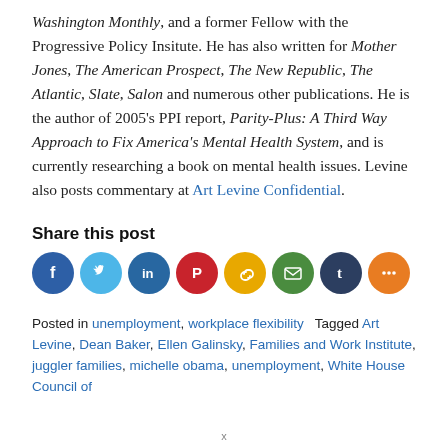Washington Monthly, and a former Fellow with the Progressive Policy Insitute. He has also written for Mother Jones, The American Prospect, The New Republic, The Atlantic, Slate, Salon and numerous other publications. He is the author of 2005's PPI report, Parity-Plus: A Third Way Approach to Fix America's Mental Health System, and is currently researching a book on mental health issues. Levine also posts commentary at Art Levine Confidential.
Share this post
[Figure (infographic): Row of social media sharing icon circles: Facebook (blue), Twitter (light blue), LinkedIn (dark blue), Pinterest (red), Copy Link (yellow), Email (green), Tumblr (dark navy), More/Share (orange)]
Posted in unemployment, workplace flexibility   Tagged Art Levine, Dean Baker, Ellen Galinsky, Families and Work Institute, juggler families, michelle obama, unemployment, White House Council of